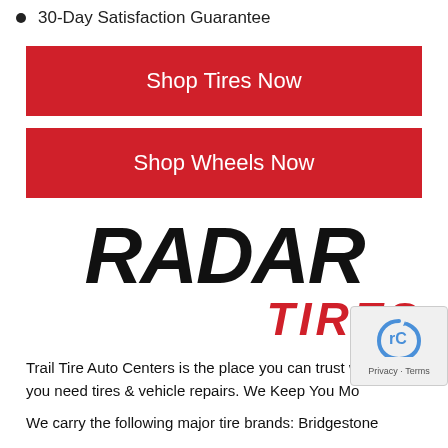30-Day Satisfaction Guarantee
Shop Tires Now
Shop Wheels Now
[Figure (logo): Radar Tires logo — RADAR in large black bold italic text, TIRES below right in large red bold italic text]
Trail Tire Auto Centers is the place you can trust when you need tires & vehicle repairs. We Keep You Mo...
We carry the following major tire brands: Bridgestone...